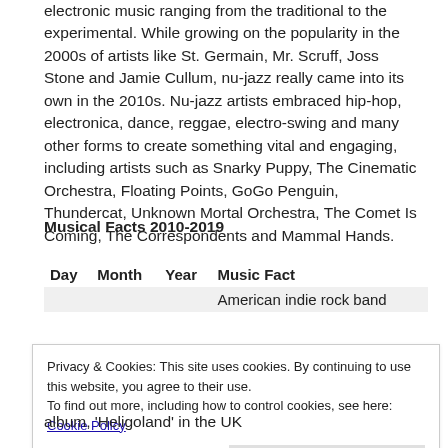electronic music ranging from the traditional to the experimental. While growing on the popularity in the 2000s of artists like St. Germain, Mr. Scruff, Joss Stone and Jamie Cullum, nu-jazz really came into its own in the 2010s. Nu-jazz artists embraced hip-hop, electronica, dance, reggae, electro-swing and many other forms to create something vital and engaging, including artists such as Snarky Puppy, The Cinematic Orchestra, Floating Points, GoGo Penguin, Thundercat, Unknown Mortal Orchestra, The Comet Is Coming, The Correspondents and Mammal Hands.
Musical Facts 2010-2019
| Day | Month | Year | Music Fact |
| --- | --- | --- | --- |
|  |  |  | American indie rock band |
Privacy & Cookies: This site uses cookies. By continuing to use this website, you agree to their use.
To find out more, including how to control cookies, see here: Cookie Policy
Close and accept
album, 'Heligoland' in the UK